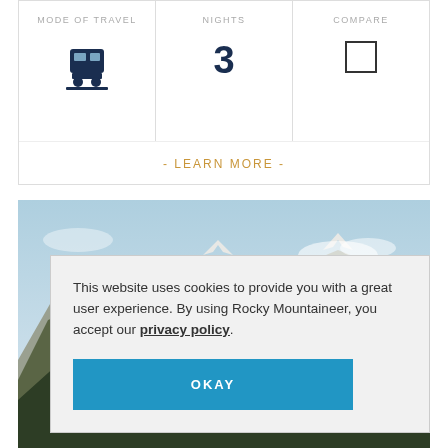MODE OF TRAVEL
NIGHTS
COMPARE
3
- LEARN MORE -
[Figure (photo): Mountain landscape with rocky peaks, forested slopes, and blue sky, partially overlaid by a cookie consent dialog.]
This website uses cookies to provide you with a great user experience. By using Rocky Mountaineer, you accept our privacy policy.
OKAY